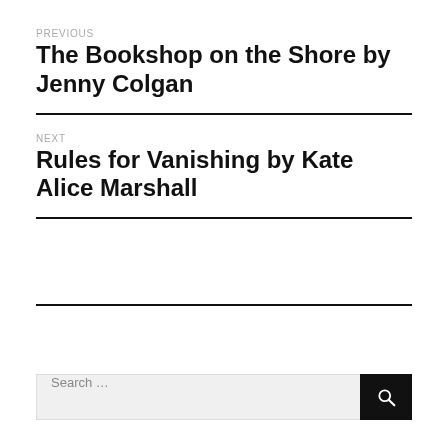PREVIOUS
The Bookshop on the Shore by Jenny Colgan
NEXT
Rules for Vanishing by Kate Alice Marshall
Search …